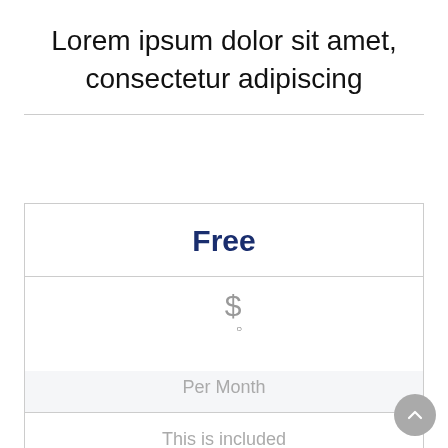Lorem ipsum dolor sit amet, consectetur adipiscing
| Free |
| --- |
| $
○ | Per Month |
| This is included |
| But that's it |